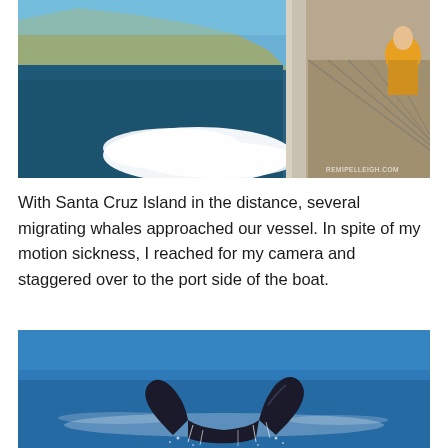[Figure (photo): View from the deck of a moving boat with white wake and ocean spray, Santa Cruz Island visible in the background on the left, boat railing and passengers in yellow jackets on the right. Watermark: REMIPELLEIGH.COM]
With Santa Cruz Island in the distance, several migrating whales approached our vessel. In spite of my motion sickness, I reached for my camera and staggered over to the port side of the boat.
[Figure (photo): A humpback whale's tail fluke rising out of the blue ocean water with water droplets falling off the edges, blue sky and ocean in the background.]